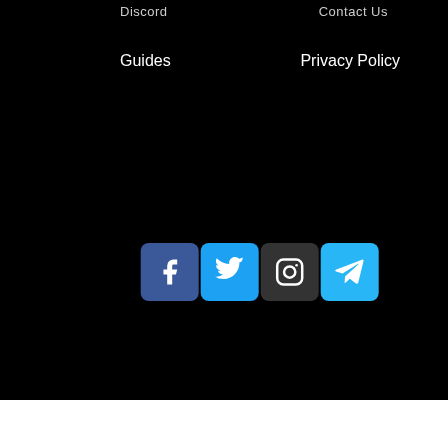Discord
Contact Us
Guides
Privacy Policy
[Figure (infographic): Row of four social media icon buttons: Facebook (blue), Twitter (light blue), Instagram (dark grey), Telegram (light blue)]